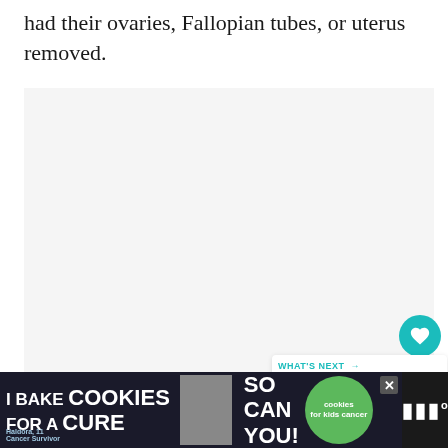had their ovaries, Fallopian tubes, or uterus removed.
[Figure (other): Embedded media/ad area with three navigation dots and a light gray background]
[Figure (infographic): What's Next widget showing a thumbnail and text 'Brillia Health's Testimonials...']
[Figure (infographic): Bottom banner advertisement: 'I Bake COOKIES For A CURE – Haldora, 11 Cancer Survivor – So can you! – cookies for kids cancer' with close button and logo]